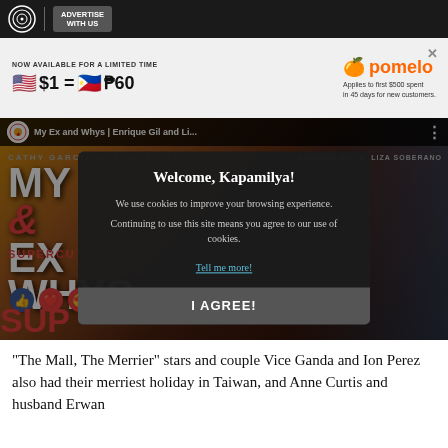ABS-CBN | ADVERTISE WITH US
[Figure (advertisement): Pomelo app ad banner: NOW AVAILABLE FOR A LIMITED TIME $1 = ₱60 Applies to first $500 spent in 45 days for new customers.]
[Figure (screenshot): YouTube-style video player showing 'My Ex and Whys | Enrique Gil and Li...' with movie poster thumbnail and cookie consent modal overlay reading: Welcome, Kapamilya! We use cookies to improve your browsing experience. Continuing to use this site means you agree to our use of cookies. Tell me more! I AGREE!]
“The Mall, The Merrier” stars and couple Vice Ganda and Ion Perez also had their merriest holiday in Taiwan, and Anne Curtis and husband Erwan